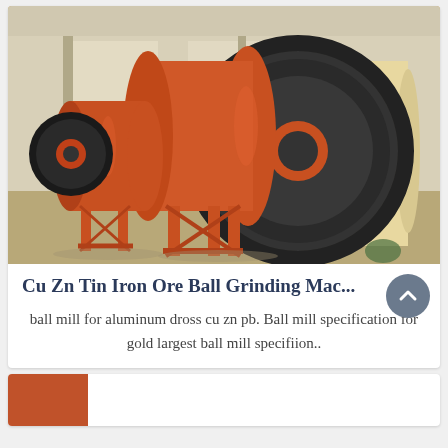[Figure (photo): Industrial ball grinding mills in orange/red color inside a factory building. Large gear wheels and cylindrical grinding drums visible on concrete floor.]
Cu Zn Tin Iron Ore Ball Grinding Mac...
ball mill for aluminum dross cu zn pb. Ball mill specification for gold largest ball mill specifiion..
[Figure (photo): Partial view of another product card at bottom of page showing an orange/red industrial machine thumbnail.]